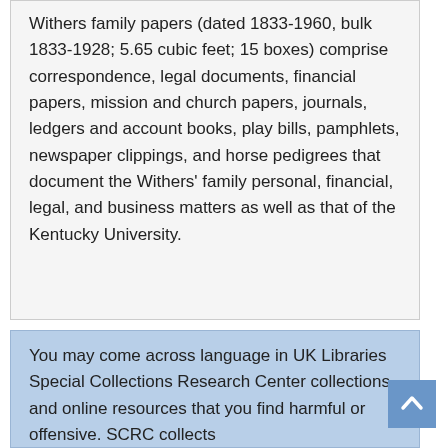Withers family papers (dated 1833-1960, bulk 1833-1928; 5.65 cubic feet; 15 boxes) comprise correspondence, legal documents, financial papers, mission and church papers, journals, ledgers and account books, play bills, pamphlets, newspaper clippings, and horse pedigrees that document the Withers' family personal, financial, legal, and business matters as well as that of the Kentucky University.
You may come across language in UK Libraries Special Collections Research Center collections and online resources that you find harmful or offensive. SCRC collects